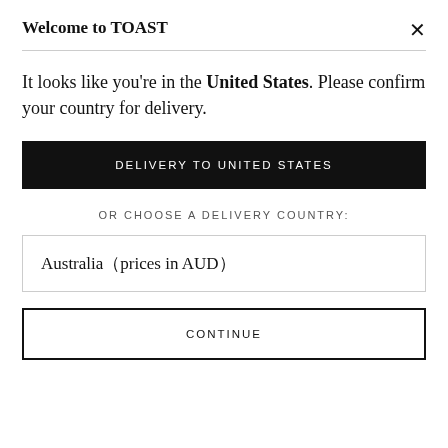Welcome to TOAST
It looks like you're in the United States. Please confirm your country for delivery.
DELIVERY TO UNITED STATES
OR CHOOSE A DELIVERY COUNTRY:
Australia（prices in AUD）
CONTINUE